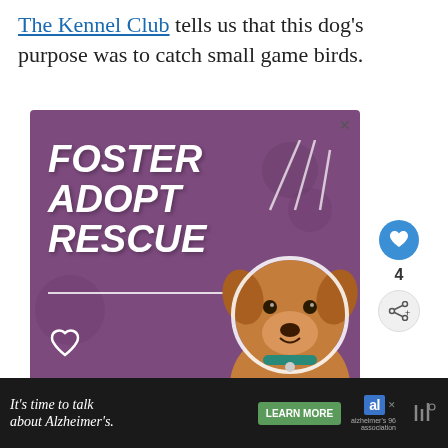The Kennel Club tells us that this dog's purpose was to catch small game birds.
[Figure (illustration): Purple advertisement banner with white bold italic text reading FOSTER ADOPT RESCUE, with heart outline decorations, a brown pit bull dog image, decorative line art, and a close button X in the top right.]
[Figure (infographic): What's Next panel: circular thumbnail of a dog's eye, label WHAT'S NEXT with arrow, text 'Why Does My Dog All Of A...']
[Figure (illustration): Bottom advertisement bar on dark background: text 'It's time to talk about Alzheimer's.' with LEARN MORE button and Alzheimer's Association logo.]